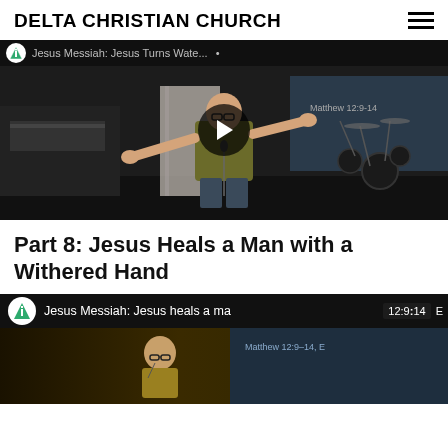DELTA CHRISTIAN CHURCH
[Figure (screenshot): YouTube video thumbnail showing a pastor/speaker on stage with arms outstretched, wearing an olive green shirt, with drum kit visible in background. Video title overlay reads 'Jesus Messiah: Jesus Turns Wate...' with a play button in the center.]
Part 8: Jesus Heals a Man with a Withered Hand
[Figure (screenshot): YouTube video thumbnail showing the Delta Christian Church logo (green triangle with cross), title 'Jesus Messiah: Jesus heals a ma...' with timestamp '12:9-14' visible, and a partially visible speaker/pastor below.]